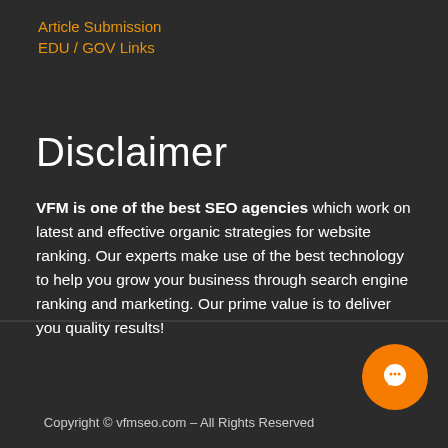Article Submission
EDU / GOV Links
Disclaimer
VFM is one of the best SEO agencies which work on latest and effective organic strategies for website ranking. Our experts make use of the best technology to help you grow your business through search engine ranking and marketing. Our prime value is to deliver you quality results!
Copyright © vfmseo.com – All Rights Reserved